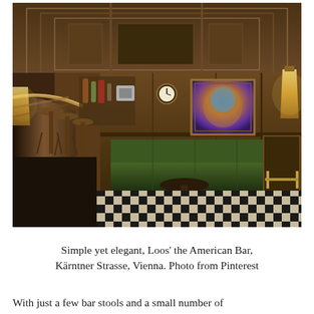[Figure (photo): Interior photograph of Loos' American Bar at Kärntner Strasse, Vienna. Shows an elegant Art Deco bar interior with dark wood paneling on walls and coffered ceiling, a curved bar counter with bar stools on the left, green leather banquette seating in the background, a black and white checkered marble floor, wall-mounted glass lamps, and a painting on the back wall.]
Simple yet elegant, Loos' the American Bar, Kärntner Strasse, Vienna. Photo from Pinterest
With just a few bar stools and a small number of tables, the...